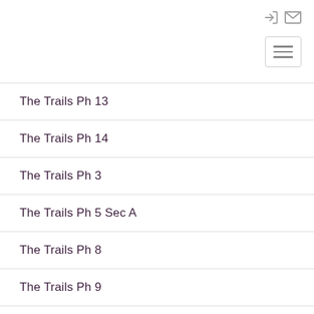The Trails Ph 13
The Trails Ph 14
The Trails Ph 3
The Trails Ph 5 Sec A
The Trails Ph 8
The Trails Ph 9
The Vistas At Waterstone Ph